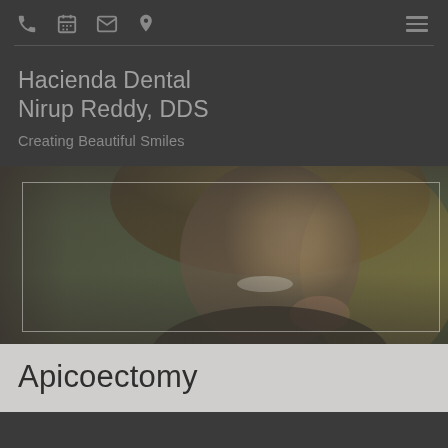Hacienda Dental — navigation icons: phone, calendar, mail, location, menu
Hacienda Dental
Nirup Reddy, DDS
Creating Beautiful Smiles
[Figure (photo): Smiling woman with blonde hair, close-up portrait with dental practice overlay and white rectangle border]
Apicoectomy